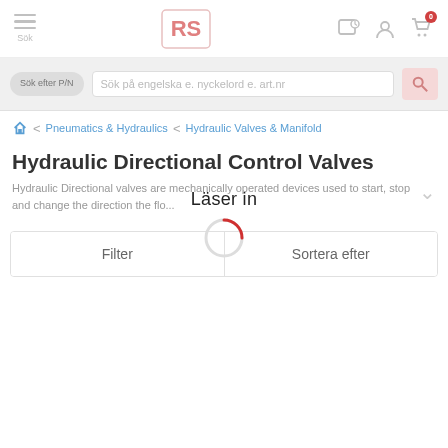[Figure (screenshot): RS Components website header with hamburger menu, RS logo, location pin icon, user account icon, and shopping cart icon with badge showing 0]
[Figure (screenshot): Search bar area with P/N toggle button, search input field placeholder text 'Sök på engelska e. nyckelord e. art.nr' and pink search button]
Pneumatics & Hydraulics
Hydraulic Valves & Manifold
Hydraulic Directional Control Valves
Hydraulic Directional valves are mechanically operated devices used to start, stop and change the direction the flo...
Filter
Sortera efter
Läser in